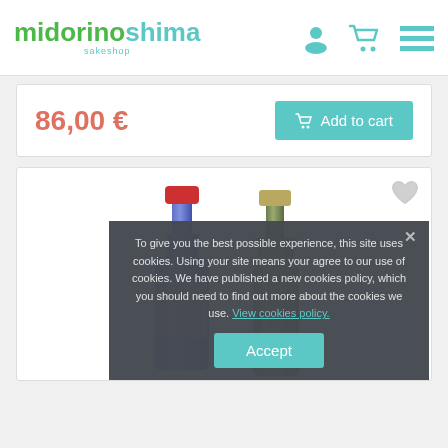midorinoshima sakeshop
86,00 €
Add to cart
[Figure (photo): Two sake bottles side by side — one blue with a red cap and one olive-green/transparent with a gold cap — displayed against a white background inside a product card]
To give you the best possible experience, this site uses cookies. Using your site means your agree to our use of cookies. We have published a new cookies policy, which you should need to find out more about the cookies we use. View cookies policy.
Accept